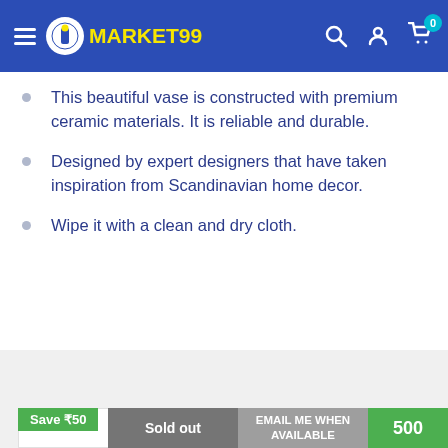MARKET99
This beautiful vase is constructed with premium ceramic materials. It is reliable and durable.
Designed by expert designers that have taken inspiration from Scandinavian home decor.
Wipe it with a clean and dry cloth.
You may also like
Save ₹50
Sold out
EMAIL ME WHEN AVAILABLE
500